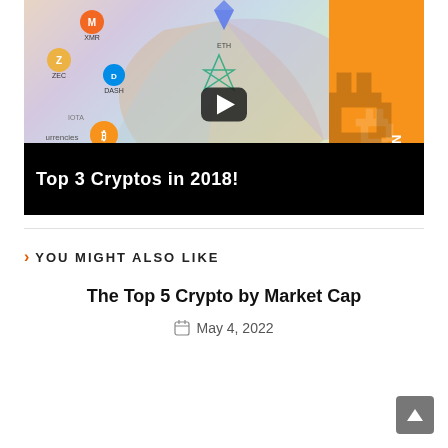[Figure (screenshot): YouTube video thumbnail showing cryptocurrency logos (XMR, ZEC, DASH, IOTA, BTC, STEEM, VeChain, ETH, REP, RCS, COSS) on a colorful background with a play button overlay. Bottom bar shows 'Top 3 Cryptos in 2018!' in white bold text. Large orange Bitcoin logo on right side.]
YOU MIGHT ALSO LIKE
The Top 5 Crypto by Market Cap
May 4, 2022